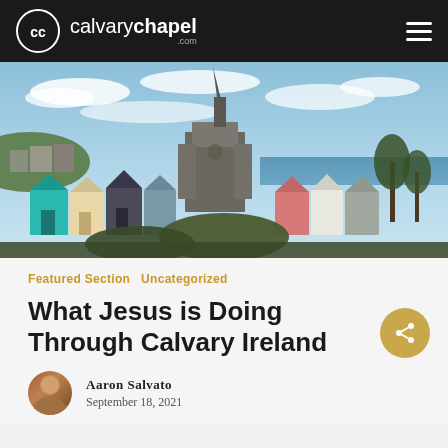calvary chapel .com
[Figure (photo): Aerial view of an Irish coastal town (likely Cobh, Ireland) with colorful terraced houses in the foreground and a large Gothic cathedral (St. Colman's Cathedral) with a tall spire in the background, with water and sky visible.]
Featured Section   Uncategorized
What Jesus is Doing Through Calvary Ireland
Aaron Salvato
September 18, 2021